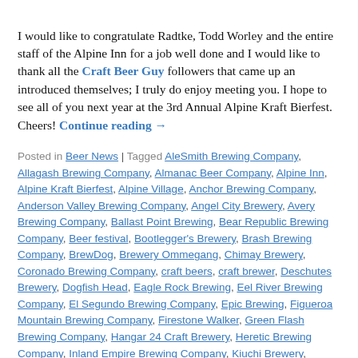I would like to congratulate Radtke, Todd Worley and the entire staff of the Alpine Inn for a job well done and I would like to thank all the Craft Beer Guy followers that came up an introduced themselves; I truly do enjoy meeting you. I hope to see all of you next year at the 3rd Annual Alpine Kraft Bierfest. Cheers! Continue reading →
Posted in Beer News | Tagged AleSmith Brewing Company, Allagash Brewing Company, Almanac Beer Company, Alpine Inn, Alpine Kraft Bierfest, Alpine Village, Anchor Brewing Company, Anderson Valley Brewing Company, Angel City Brewery, Avery Brewing Company, Ballast Point Brewing, Bear Republic Brewing Company, Beer festival, Bootlegger's Brewery, Brash Brewing Company, BrewDog, Brewery Ommegang, Chimay Brewery, Coronado Brewing Company, craft beers, craft brewer, Deschutes Brewery, Dogfish Head, Eagle Rock Brewing, Eel River Brewing Company, El Segundo Brewing Company, Epic Brewing, Figueroa Mountain Brewing Company, Firestone Walker, Green Flash Brewing Company, Hangar 24 Craft Brewery, Heretic Brewing Company, Inland Empire Brewing Company, Kiuchi Brewery, Lagunitas Brewing Company, Lightning Brewery, Mad River Brewing Company, Manzanita Brewing Company, Mission Brewery, Monkish Brewing Company, Napa Smith Brewery, New Belgium Brewing